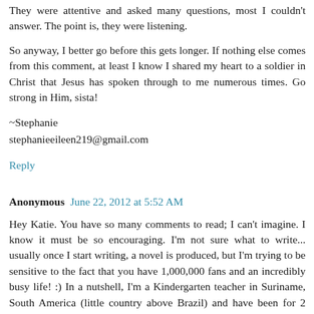They were attentive and asked many questions, most I couldn't answer. The point is, they were listening.
So anyway, I better go before this gets longer. If nothing else comes from this comment, at least I know I shared my heart to a soldier in Christ that Jesus has spoken through to me numerous times. Go strong in Him, sista!
~Stephanie
stephanieeileen219@gmail.com
Reply
Anonymous  June 22, 2012 at 5:52 AM
Hey Katie. You have so many comments to read; I can't imagine. I know it must be so encouraging. I'm not sure what to write... usually once I start writing, a novel is produced, but I'm trying to be sensitive to the fact that you have 1,000,000 fans and an incredibly busy life! :) In a nutshell, I'm a Kindergarten teacher in Suriname, South America (little country above Brazil) and have been for 2 years now (I'm from Memphis). I graduated college telling